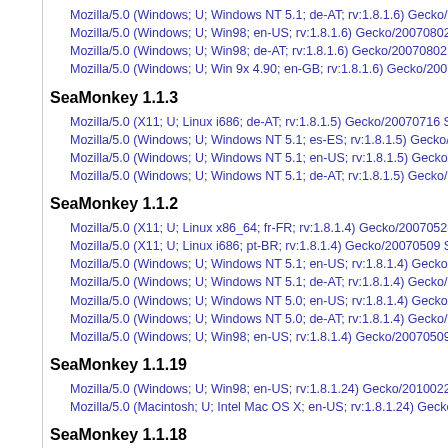Mozilla/5.0 (Windows; U; Windows NT 5.1; de-AT; rv:1.8.1.6) Gecko/20070802 Sea
Mozilla/5.0 (Windows; U; Win98; en-US; rv:1.8.1.6) Gecko/20070802 SeaMonkey/1
Mozilla/5.0 (Windows; U; Win98; de-AT; rv:1.8.1.6) Gecko/20070802 SeaMonkey/1.
Mozilla/5.0 (Windows; U; Win 9x 4.90; en-GB; rv:1.8.1.6) Gecko/20070802 SeaMo
SeaMonkey 1.1.3
Mozilla/5.0 (X11; U; Linux i686; de-AT; rv:1.8.1.5) Gecko/20070716 SeaMonkey/1.1
Mozilla/5.0 (Windows; U; Windows NT 5.1; es-ES; rv:1.8.1.5) Gecko/20070716 Sea
Mozilla/5.0 (Windows; U; Windows NT 5.1; en-US; rv:1.8.1.5) Gecko/20070716 Sea
Mozilla/5.0 (Windows; U; Windows NT 5.1; de-AT; rv:1.8.1.5) Gecko/20070716 Sea
SeaMonkey 1.1.2
Mozilla/5.0 (X11; U; Linux x86_64; fr-FR; rv:1.8.1.4) Gecko/20070528 SeaMonkey/
Mozilla/5.0 (X11; U; Linux i686; pt-BR; rv:1.8.1.4) Gecko/20070509 SeaMonkey/1.1
Mozilla/5.0 (Windows; U; Windows NT 5.1; en-US; rv:1.8.1.4) Gecko/20070509 Sea
Mozilla/5.0 (Windows; U; Windows NT 5.1; de-AT; rv:1.8.1.4) Gecko/20070509 Sea
Mozilla/5.0 (Windows; U; Windows NT 5.0; en-US; rv:1.8.1.4) Gecko/20070509 Sea
Mozilla/5.0 (Windows; U; Windows NT 5.0; de-AT; rv:1.8.1.4) Gecko/20070509 Sea
Mozilla/5.0 (Windows; U; Win98; en-US; rv:1.8.1.4) Gecko/20070509 SeaMonkey/1
SeaMonkey 1.1.19
Mozilla/5.0 (Windows; U; Win98; en-US; rv:1.8.1.24) Gecko/20100228 SeaMonkey
Mozilla/5.0 (Macintosh; U; Intel Mac OS X; en-US; rv:1.8.1.24) Gecko/20100301 Se
SeaMonkey 1.1.18
Mozilla/5.0 (X11; U; Linux i686; en-US; rv:1.8.1.23) Gecko/20090908 Fedora/1.1.18
Mozilla/5.0 (X11; U; Linux i686; en-US; rv:1.8.1.23) Gecko/20090907 SeaMonkey/1
Mozilla/5.0 (Windows; U; Windows NT 5.1; de-DE; rv:1.8.1.23) Gecko/20090825 Se
Mozilla/5.0 (Windows; U; Win98; en-US; rv:1.8.1.23) Gecko/20090825 MultiZilla/1.8
Mozilla/5.0 (Windows; U; Win 9x 4.90; de-AT; rv:1.8.1.23) Gecko/20090825 SeaMo
Mozilla/5.0 (Macintosh; U; Intel Mac OS X; en-US; rv:1.8.1.23) Gecko/20090823 Se